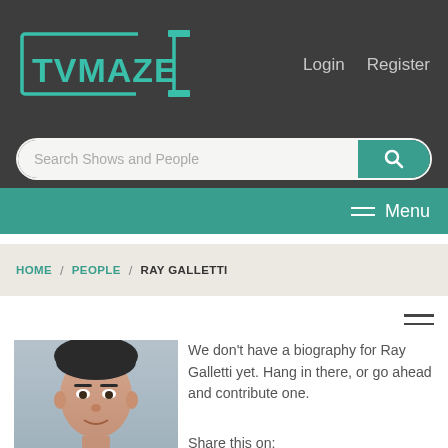TVMAZE — Login  Register
Search Shows and People
Menu
HOME / PEOPLE / RAY GALLETTI
[Figure (photo): Headshot photo of Ray Galletti, a man with dark hair]
We don't have a biography for Ray Galletti yet. Hang in there, or go ahead and contribute one.
Share this on: